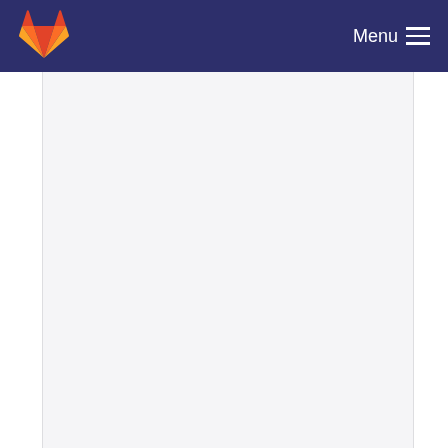GitLab — Menu
[Figure (screenshot): Empty gray content area of a GitLab repository page]
Add getattribute to PageRev for getting owner_gr...
Skia committed 6 years ago